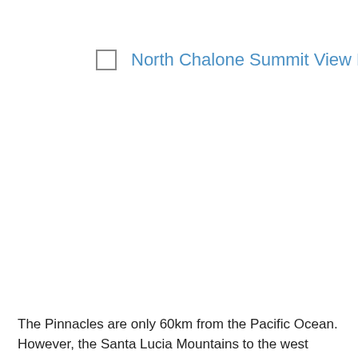North Chalone Summit View NE
[Figure (screenshot): Two vertical gray card/thumbnail strips partially visible on left side, with 'N O R' text on first and 'N O R L' text on second, representing navigation cards. A gray horizontal label bar reads 'North Chalone Summit View NE'.]
The Pinnacles are only 60km from the Pacific Ocean. However, the Santa Lucia Mountains to the west strongly moderate any maritime influence on the park's climate and ecosystems. The resulting chaparral, woodland, grassland and rock habitats are unique and simply